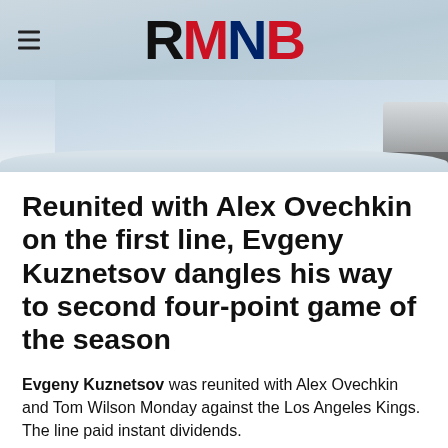RMNB
[Figure (photo): Partial photo of a hockey player, showing skates/lower body near the boards, with an icy background.]
Reunited with Alex Ovechkin on the first line, Evgeny Kuznetsov dangles his way to second four-point game of the season
Evgeny Kuznetsov was reunited with Alex Ovechkin and Tom Wilson Monday against the Los Angeles Kings. The line paid instant dividends.
Kuzy registered points on four of the Caps'